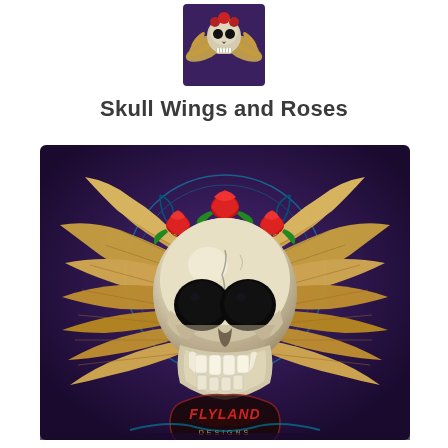[Figure (illustration): Small thumbnail image of a skull with golden wings on a dark purple background]
Skull Wings and Roses
[Figure (illustration): Large detailed digital illustration of a human skull with golden feathered wings spread wide, red roses arranged on top of the skull, on a dark purple background with glowing blue circular lines. A 'Flyland Designs' logo/watermark appears at the bottom center.]